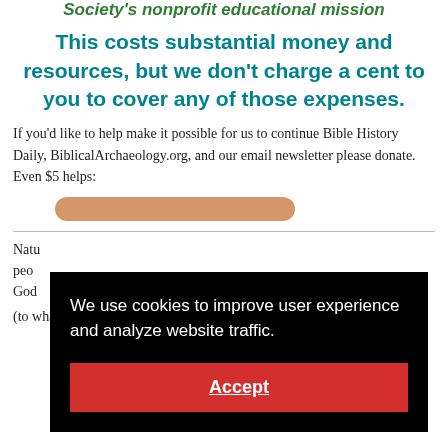Society's nonprofit educational mission
This costs substantial money and resources, but we don't charge a cent to you to cover any of those expenses.
If you'd like to help make it possible for us to continue Bible History Daily, BiblicalArchaeology.org, and our email newsletter please donate. Even $5 helps:
[Figure (other): Orange donate button (partially visible)]
Natu[rally]... peo[ple]... God...
(to what point) your people has corrupted its faith
[Figure (other): Cookie consent overlay popup with black background, text 'We use cookies to improve user experience and analyze website traffic.' and a red Accept button.]